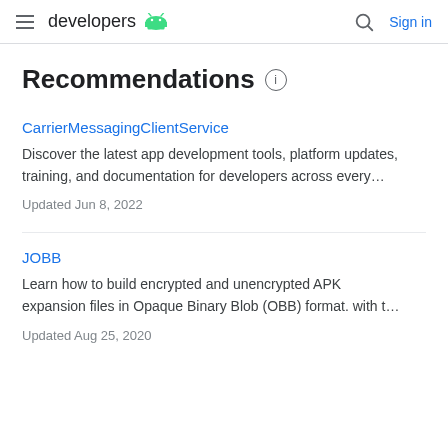developers [android logo] | Search | Sign in
Recommendations
CarrierMessagingClientService
Discover the latest app development tools, platform updates, training, and documentation for developers across every…
Updated Jun 8, 2022
JOBB
Learn how to build encrypted and unencrypted APK expansion files in Opaque Binary Blob (OBB) format. with t…
Updated Aug 25, 2020